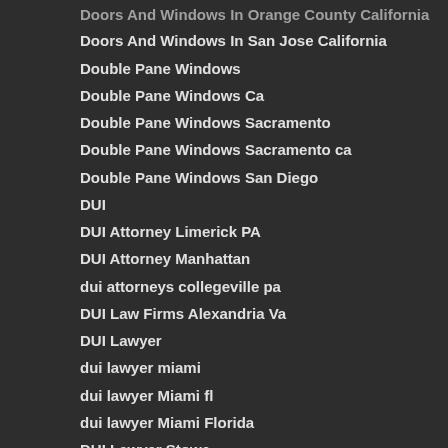Doors And Windows In Orange County California
Doors And Windows In San Jose California
Double Pane Windows
Double Pane Windows Ca
Double Pane Windows Sacramento
Double Pane Windows Sacramento ca
Double Pane Windows San Diego
DUI
DUI Attorney Limerick PA
DUI Attorney Manhattan
dui attorneys collegeville pa
DUI Law Firms Alexandria Va
DUI Lawyer
dui lawyer miami
dui lawyer Miami fl
dui lawyer Miami Florida
DUI Lawyer Stowe